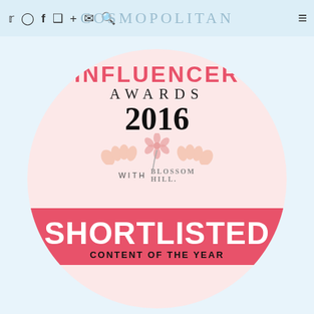COSMOPOLITAN
[Figure (logo): Cosmopolitan Influencer Awards 2016 with Blossom Hill — Shortlisted badge. A circular pink badge on a light blue background featuring the Cosmopolitan logo at top, 'INFLUENCER AWARDS 2016' text, decorative hands and flower illustration, 'WITH BLOSSOM HILL.' text, and a coral-red banner reading 'SHORTLISTED' with 'CONTENT OF THE YEAR' below.]